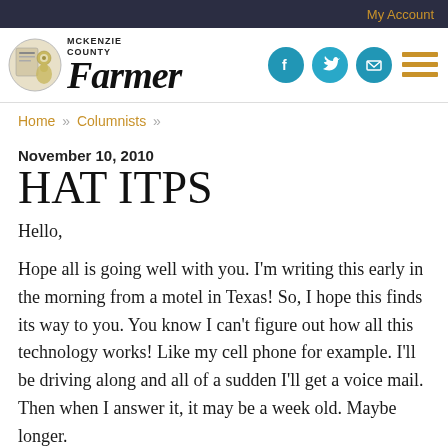My Account
[Figure (logo): McKenzie County Farmer newspaper logo with illustrated icon and social media icons (Facebook, Twitter, email) and hamburger menu]
Home » Columnists »
November 10, 2010
HAT ITPS
Hello,
Hope all is going well with you. I'm writing this early in the morning from a motel in Texas! So, I hope this finds its way to you. You know I can't figure out how all this technology works! Like my cell phone for example. I'll be driving along and all of a sudden I'll get a voice mail. Then when I answer it, it may be a week old. Maybe longer.